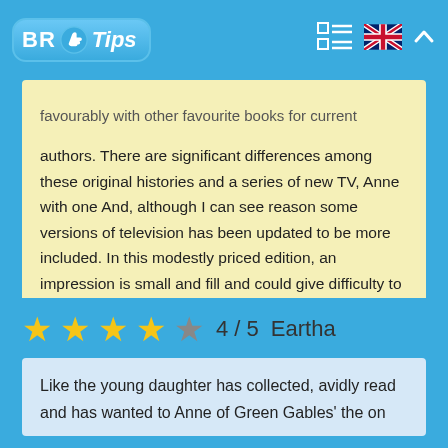BR Tips
favourably with other favourite books for current authors. There are significant differences among these original histories and a series of new TV, Anne with one And, although I can see reason some versions of television has been updated to be more included. In this modestly priced edition, an impression is small and fill and could give difficulty to the slow reader.
★★★★☆ 4 / 5  Eartha
Like the young daughter has collected, avidly read and has wanted to Anne of Green Gables' the on